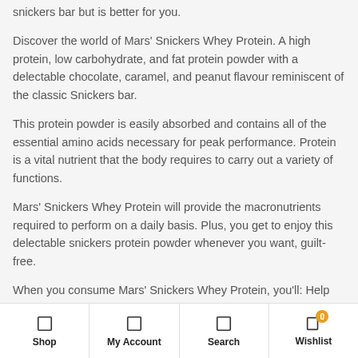snickers bar but is better for you.
Discover the world of Mars' Snickers Whey Protein. A high protein, low carbohydrate, and fat protein powder with a delectable chocolate, caramel, and peanut flavour reminiscent of the classic Snickers bar.
This protein powder is easily absorbed and contains all of the essential amino acids necessary for peak performance. Protein is a vital nutrient that the body requires to carry out a variety of functions.
Mars' Snickers Whey Protein will provide the macronutrients required to perform on a daily basis. Plus, you get to enjoy this delectable snickers protein powder whenever you want, guilt-free.
When you consume Mars' Snickers Whey Protein, you'll: Help maintain a healthy body composition. By supplying your body with
Shop   My Account   Search   Wishlist